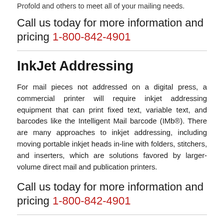Profold and others to meet all of your mailing needs.
Call us today for more information and pricing 1-800-842-4901
InkJet Addressing
For mail pieces not addressed on a digital press, a commercial printer will require inkjet addressing equipment that can print fixed text, variable text, and barcodes like the Intelligent Mail barcode (IMb®). There are many approaches to inkjet addressing, including moving portable inkjet heads in-line with folders, stitchers, and inserters, which are solutions favored by larger-volume direct mail and publication printers.
Call us today for more information and pricing 1-800-842-4901
Inserter